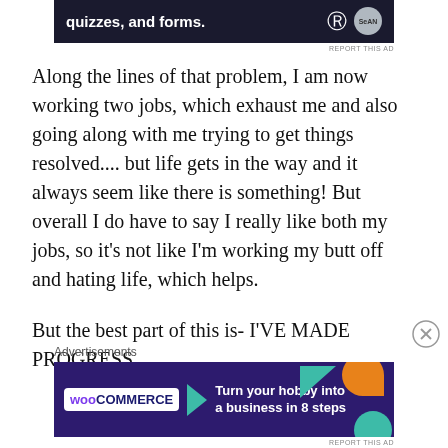[Figure (other): WordPress advertisement banner with text 'quizzes, and forms.' on dark navy background with WordPress logo and user avatar]
Along the lines of that problem, I am now working two jobs, which exhaust me and also going along with me trying to get things resolved.... but life gets in the way and it always seem like there is something! But overall I do have to say I really like both my jobs, so it's not like I'm working my butt off and hating life, which helps.
But the best part of this is- I'VE MADE PROGRESS
Advertisements
[Figure (other): WooCommerce advertisement banner on purple background with text 'Turn your hobby into a business in 8 steps' and decorative triangles and circles]